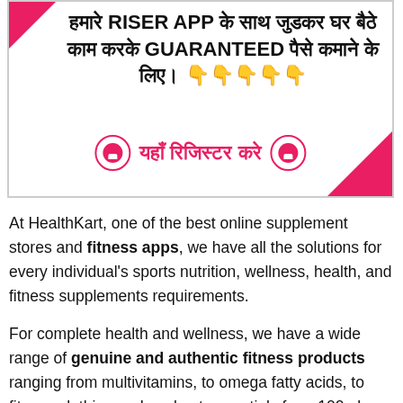[Figure (infographic): Advertisement box with pink corner triangles, Hindi text about RISER APP earning money from home guaranteed, with yellow hand emojis and a red register button with circular Riser icons on each side]
At HealthKart, one of the best online supplement stores and fitness apps, we have all the solutions for every individual's sports nutrition, wellness, health, and fitness supplements requirements.
For complete health and wellness, we have a wide range of genuine and authentic fitness products ranging from multivitamins, to omega fatty acids, to fitness clothing and workout essentials from 100 plus trusted brands.